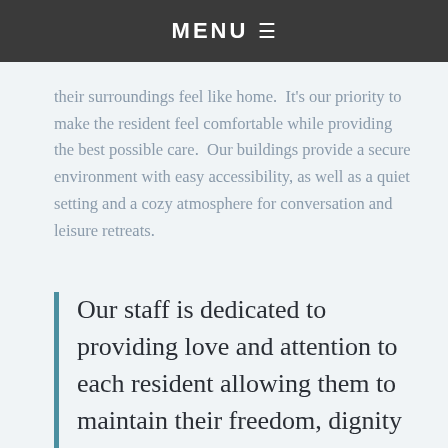MENU
their surroundings feel like home.  It's our priority to make the resident feel comfortable while providing the best possible care.  Our buildings provide a secure environment with easy accessibility, as well as a quiet setting and a cozy atmosphere for conversation and leisure retreats.
Our staff is dedicated to providing love and attention to each resident allowing them to maintain their freedom, dignity and independence while being a part of a